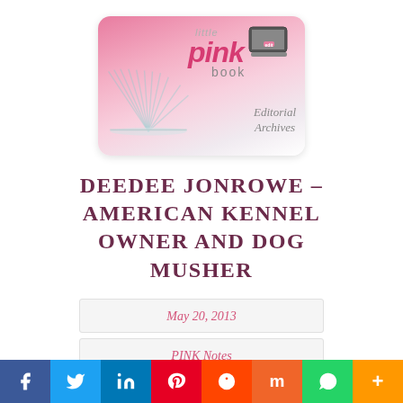[Figure (logo): Little Pink Book Editorial Archives logo with open book pages and laptop icon on pink gradient background]
DEEDEE JONROWE – AMERICAN KENNEL OWNER AND DOG MUSHER
May 20, 2013
PINK Notes
[Figure (infographic): Social sharing bar with Facebook, Twitter, LinkedIn, Pinterest, Reddit, Mix, WhatsApp, and More buttons]